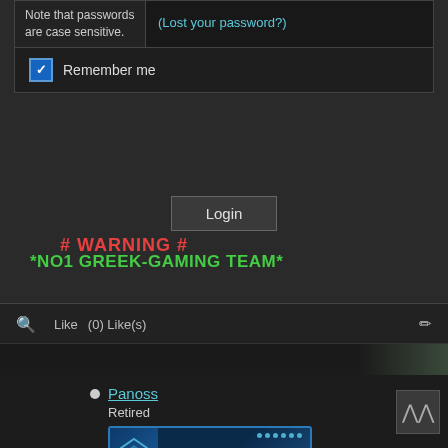Note that passwords are case sensitive.
(Lost your password?)
Remember me
Login
# WARNING #
*NO1 GREEK-GAMING TEAM*
Like   (0) Like(s)
Panoss
Retired
[Figure (screenshot): Moderator badge with chevron logo and MODERATOR text in blue]
Posts: 919